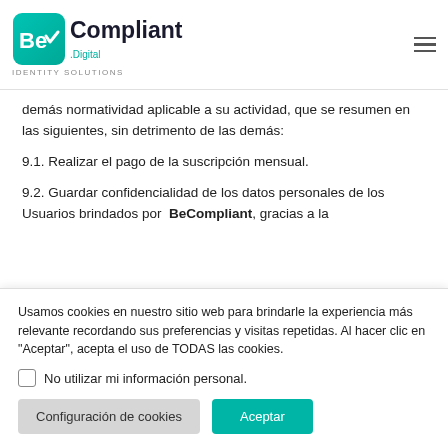BeCompliant Digital - Identity Solutions
demás normatividad aplicable a su actividad, que se resumen en las siguientes, sin detrimento de las demás:
9.1. Realizar el pago de la suscripción mensual.
9.2. Guardar confidencialidad de los datos personales de los Usuarios brindados por BeCompliant, gracias a la
Usamos cookies en nuestro sitio web para brindarle la experiencia más relevante recordando sus preferencias y visitas repetidas. Al hacer clic en "Aceptar", acepta el uso de TODAS las cookies.
No utilizar mi información personal.
Configuración de cookies | Aceptar